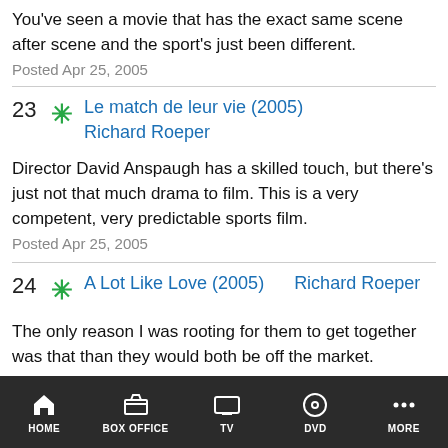You've seen a movie that has the exact same scene after scene and the sport's just been different.
Posted Apr 25, 2005
23 * Le match de leur vie (2005) Richard Roeper
Director David Anspaugh has a skilled touch, but there's just not that much drama to film. This is a very competent, very predictable sports film.
Posted Apr 25, 2005
24 * A Lot Like Love (2005) Richard Roeper
The only reason I was rooting for them to get together was that than they would both be off the market.
Posted Apr 25, 2005
25 [tomato] The Interpreter (2005) Richard Roeper
HOME | BOX OFFICE | TV | DVD | MORE